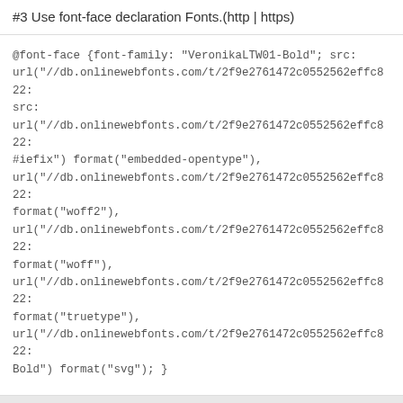#3 Use font-face declaration Fonts.(http | https)
@font-face {font-family: "VeronikaLTW01-Bold"; src: url("//db.onlinewebfonts.com/t/2f9e2761472c0552562effc822: src: url("//db.onlinewebfonts.com/t/2f9e2761472c0552562effc822: #iefix") format("embedded-opentype"), url("//db.onlinewebfonts.com/t/2f9e2761472c0552562effc822: format("woff2"), url("//db.onlinewebfonts.com/t/2f9e2761472c0552562effc822: format("woff"), url("//db.onlinewebfonts.com/t/2f9e2761472c0552562effc822: format("truetype"), url("//db.onlinewebfonts.com/t/2f9e2761472c0552562effc822: Bold") format("svg"); }
DOWNLOAD FORMAT